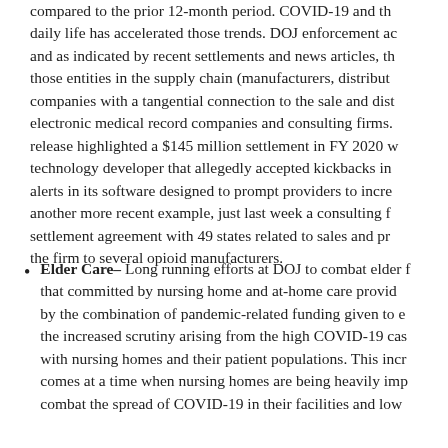compared to the prior 12-month period. COVID-19 and the disruption to daily life has accelerated those trends. DOJ enforcement actions continue, and as indicated by recent settlements and news articles, the focus includes those entities in the supply chain (manufacturers, distributors) and companies with a tangential connection to the sale and distribution, like electronic medical record companies and consulting firms. One recent press release highlighted a $145 million settlement in FY 2020 with a health technology developer that allegedly accepted kickbacks in exchange for alerts in its software designed to prompt providers to increase orders. As another more recent example, just last week a consulting firm entered into a settlement agreement with 49 states related to sales and promotional work the firm to several opioid manufacturers.
Elder Care– Long running efforts at DOJ to combat elder fraud, including that committed by nursing home and at-home care providers, is amplified by the combination of pandemic-related funding given to elder care and the increased scrutiny arising from the high COVID-19 case rates associated with nursing homes and their patient populations. This increased scrutiny comes at a time when nursing homes are being heavily impacted to combat the spread of COVID-19 in their facilities and low...